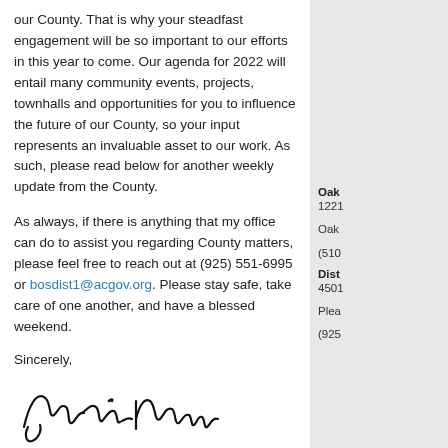our County. That is why your steadfast engagement will be so important to our efforts in this year to come. Our agenda for 2022 will entail many community events, projects, townhalls and opportunities for you to influence the future of our County, so your input represents an invaluable asset to our work. As such, please read below for another weekly update from the County.
As always, if there is anything that my office can do to assist you regarding County matters, please feel free to reach out at (925) 551-6995 or bosdist1@acgov.org. Please stay safe, take care of one another, and have a blessed weekend.
Sincerely,
[Figure (illustration): Handwritten signature of David G. Haubert]
David Haubert
Alameda County Supervisor
Oak
1221
Oak
(510)
Dist
4501
Plea
(925)